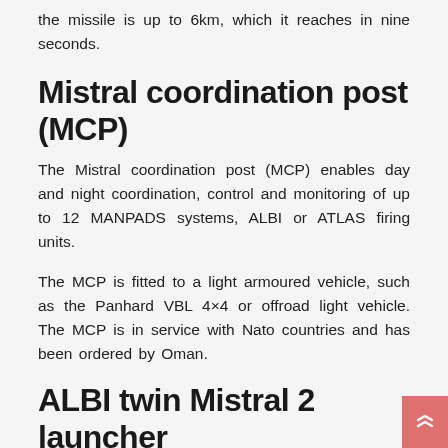the missile is up to 6km, which it reaches in nine seconds.
Mistral coordination post (MCP)
The Mistral coordination post (MCP) enables day and night coordination, control and monitoring of up to 12 MANPADS systems, ALBI or ATLAS firing units.
The MCP is fitted to a light armoured vehicle, such as the Panhard VBL 4×4 or offroad light vehicle. The MCP is in service with Nato countries and has been ordered by Oman.
ALBI twin Mistral 2 launcher